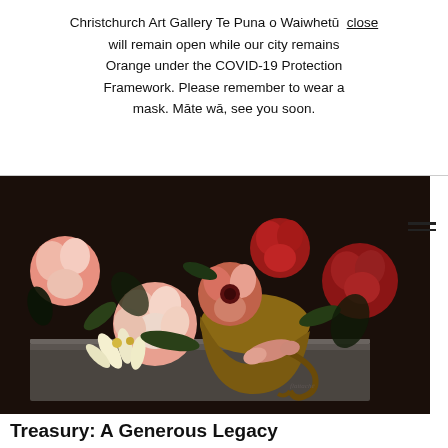Christchurch Art Gallery Te Puna o Waiwhetū will remain open while our city remains Orange under the COVID-19 Protection Framework. Please remember to wear a mask. Mā te wā, see you soon.
[Figure (photo): Close-up painting of pink, red, and white flowers (peonies and anemones) arranged in a decorative urn on a stone ledge, in the style of a Dutch Golden Age still life painting. Dark background.]
Treasury: A Generous Legacy